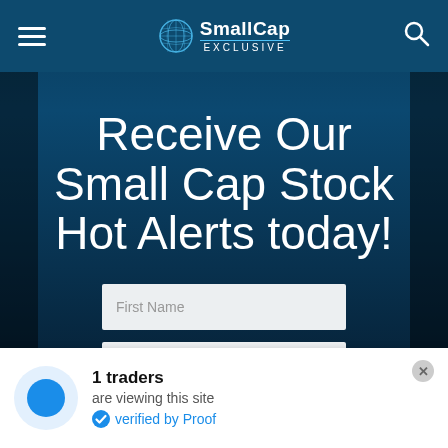SmallCap EXCLUSIVE
Receive Our Small Cap Stock Hot Alerts today!
First Name
Best Email
1 traders are viewing this site verified by Proof